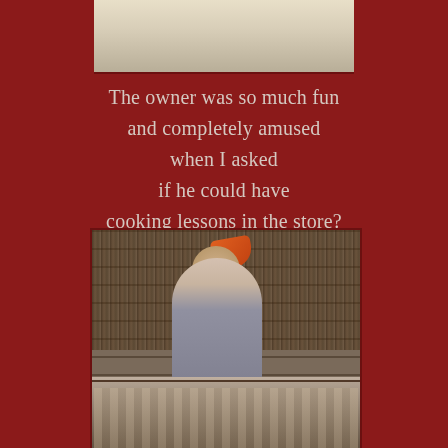[Figure (photo): Top portion of a photo, partially cropped, showing an interior space with light-colored background]
The owner was so much fun and completely amused when I asked if he could have cooking lessons in the store?
[Figure (photo): A man standing behind a store counter with shelves full of DVDs/CDs behind him, display cases in front, and a colorful decoration hanging overhead]